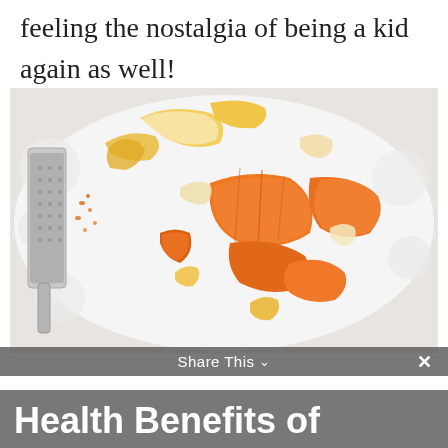feeling the nostalgia of being a kid again as well!
[Figure (photo): Photo of peeled mandarin orange segments and peel pieces scattered on a white decorative plate, with a metal citrus zester grater on the left side showing orange zest.]
Health Benefits of Yogurt and Kefir
Share This